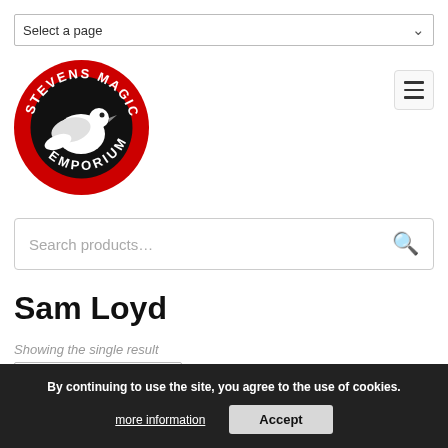Select a page
[Figure (logo): Stevens Magic Emporium circular logo: red ring with white text 'STEVENS MAGIC' at top and 'EMPORIUM' at bottom, black inner circle with white dove illustration]
Search products...
Sam Loyd
Showing the single result
Sort by latest
By continuing to use the site, you agree to the use of cookies.
more information
Accept